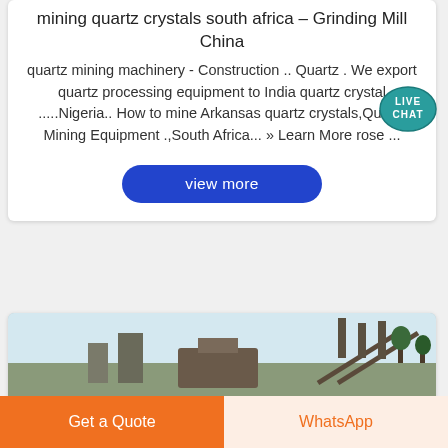mining quartz crystals south africa – Grinding Mill China
quartz mining machinery - Construction .. Quartz . We export quartz processing equipment to India quartz crystal .....Nigeria.. How to mine Arkansas quartz crystals,Quartz Mining Equipment .,South Africa... » Learn More rose ...
[Figure (other): Live Chat button bubble, teal circle with speech bubble and text LIVE CHAT]
[Figure (other): Rocket icon, dark grey rocket silhouette]
[Figure (photo): Photo of industrial mining equipment and machinery at a mining site]
Get a Quote
WhatsApp